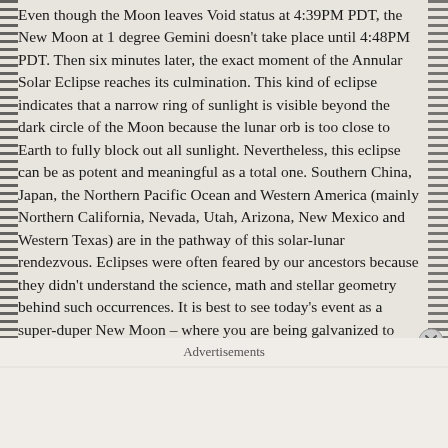Even though the Moon leaves Void status at 4:39PM PDT, the New Moon at 1 degree Gemini doesn't take place until 4:48PM PDT. Then six minutes later, the exact moment of the Annular Solar Eclipse reaches its culmination. This kind of eclipse indicates that a narrow ring of sunlight is visible beyond the dark circle of the Moon because the lunar orb is too close to Earth to fully block out all sunlight. Nevertheless, this eclipse can be as potent and meaningful as a total one. Southern China, Japan, the Northern Pacific Ocean and Western America (mainly Northern California, Nevada, Utah, Arizona, New Mexico and Western Texas) are in the pathway of this solar-lunar rendezvous. Eclipses were often feared by our ancestors because they didn't understand the science, math and stellar geometry behind such occurrences. It is best to see today's event as a super-duper New Moon – where you are being galvanized to take
Advertisements